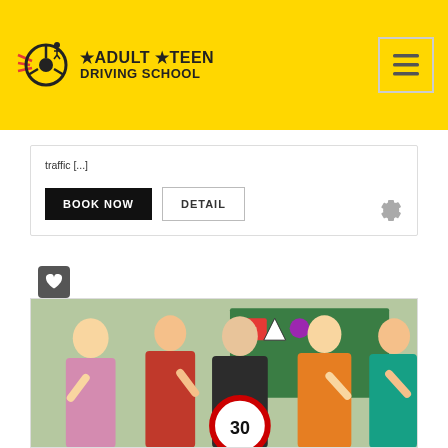Adult Teen Driving School
traffic [...]
BOOK NOW | DETAIL
[Figure (photo): Group photo of a driving instructor and students giving thumbs up, holding a speed limit sign showing 30]